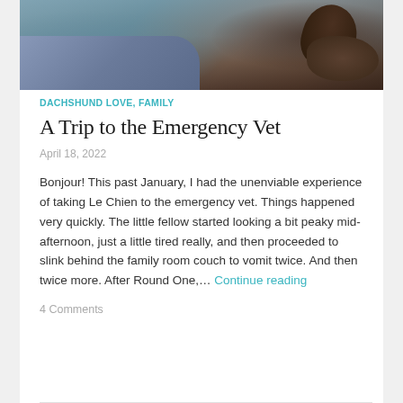[Figure (photo): A dachshund dog with dark brown/black coloring, partially visible with an ear and snout, next to a person wearing a blue/grey sweater, taken at a vet or similar setting.]
DACHSHUND LOVE, FAMILY
A Trip to the Emergency Vet
April 18, 2022
Bonjour! This past January, I had the unenviable experience of taking Le Chien to the emergency vet. Things happened very quickly. The little fellow started looking a bit peaky mid-afternoon, just a little tired really, and then proceeded to slink behind the family room couch to vomit twice. And then twice more. After Round One,... Continue reading
4 Comments